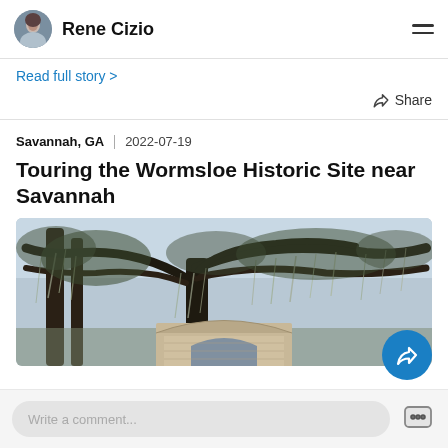Rene Cizio
Read full story >
Share
Savannah, GA  |  2022-07-19
Touring the Wormsloe Historic Site near Savannah
[Figure (photo): Photo of large live oak trees draped with Spanish moss at Wormsloe Historic Site near Savannah, with a stone arch structure visible at the bottom.]
Write a comment...